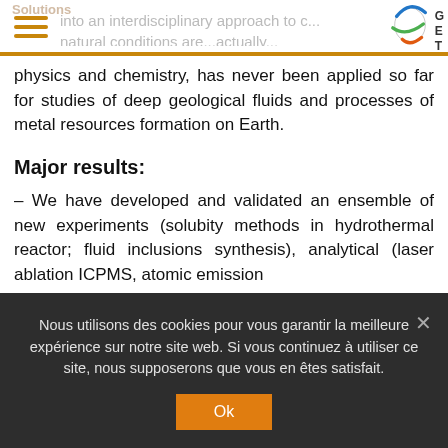physics and chemistry, has never been applied so far for studies of deep geological fluids and processes of metal resources formation on Earth.
Major results:
– We have developed and validated an ensemble of new experiments (solubity methods in hydrothermal reactor; fluid inclusions synthesis), analytical (laser ablation ICPMS, atomic emission
Nous utilisons des cookies pour vous garantir la meilleure expérience sur notre site web. Si vous continuez à utiliser ce site, nous supposerons que vous en êtes satisfait.